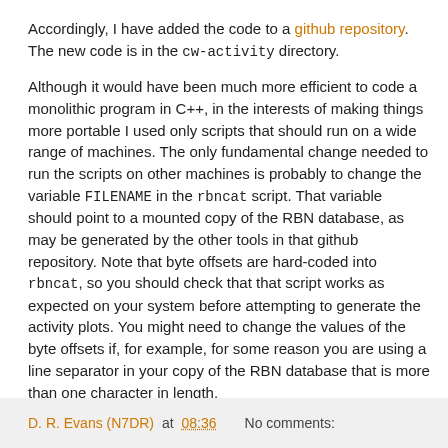Accordingly, I have added the code to a github repository. The new code is in the cw-activity directory.
Although it would have been much more efficient to code a monolithic program in C++, in the interests of making things more portable I used only scripts that should run on a wide range of machines. The only fundamental change needed to run the scripts on other machines is probably to change the variable FILENAME in the rbncat script. That variable should point to a mounted copy of the RBN database, as may be generated by the other tools in that github repository. Note that byte offsets are hard-coded into rbncat, so you should check that that script works as expected on your system before attempting to generate the activity plots. You might need to change the values of the byte offsets if, for example, for some reason you are using a line separator in your copy of the RBN database that is more than one character in length.
D. R. Evans (N7DR) at 08:36    No comments: